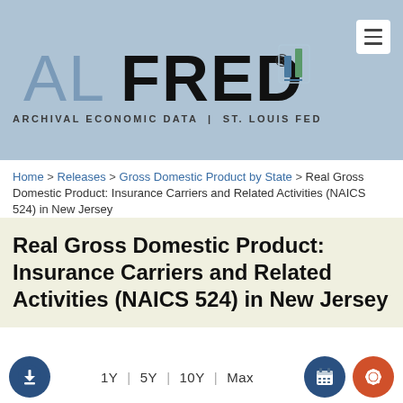[Figure (logo): ALFRED logo with bar chart icon — Archival Economic Data | St. Louis Fed]
Home > Releases > Gross Domestic Product by State > Real Gross Domestic Product: Insurance Carriers and Related Activities (NAICS 524) in New Jersey
Real Gross Domestic Product: Insurance Carriers and Related Activities (NAICS 524) in New Jersey
1Y | 5Y | 10Y | Max